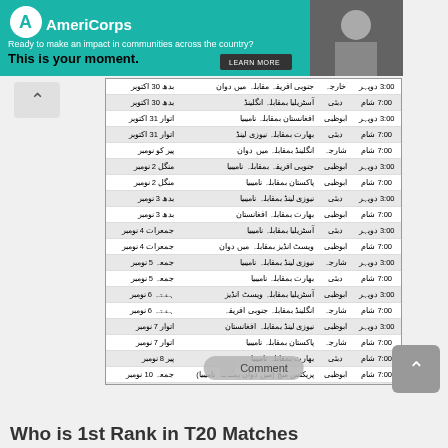[Figure (screenshot): AmeriCorps advertisement banner with teal background, logo, tagline 'Ready to make an impact in communities across the country?', headline 'This is your moment.', and LEARN MORE button. Right side shows a photo of a person.]
[Figure (table-as-image): Screenshot of a mobile page showing a table with Urdu text listing T20 match schedule with dates, match details, venue and times (3:00 pm / 7:00 pm)]
Who is 1st Rank in T20 Matches